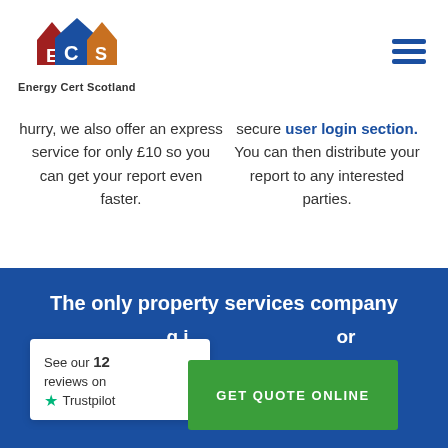[Figure (logo): Energy Cert Scotland logo with three house icons in red, blue, and orange with letters E, C, S, and text 'Energy Cert Scotland' below]
[Figure (other): Hamburger menu icon with three horizontal blue bars]
hurry, we also offer an express service for only £10 so you can get your report even faster.
secure user login section. You can then distribute your report to any interested parties.
The only property services company
See our 12 reviews on Trustpilot
GET QUOTE ONLINE